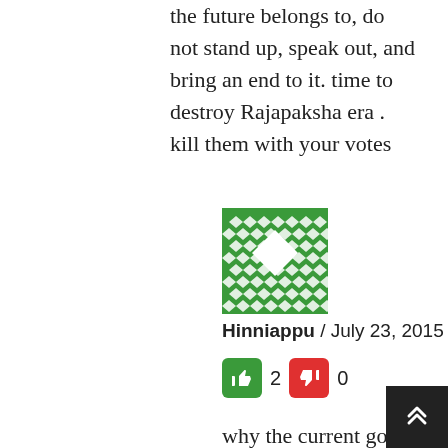the future belongs to, do not stand up, speak out, and bring an end to it. time to destroy Rajapaksha era . kill them with your votes
[Figure (illustration): Green geometric diamond/checkerboard pattern avatar icon]
Hinniappu / July 23, 2015
👍 2  👎 0
why the current govt faield to do so is connected with the bunch in power – that were the majority in the parliamenet. More than what we as outsiders expreience, they the minority good men and women experience while getting onwith those highly currpted insiders. We perfectly saw